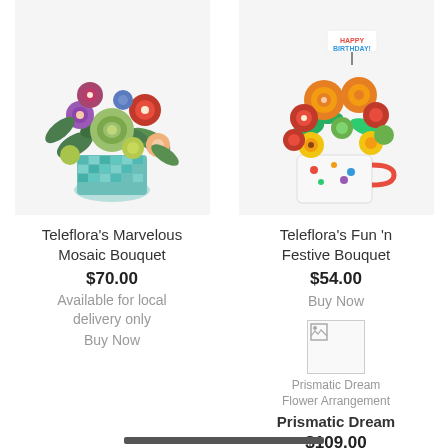[Figure (photo): Teleflora's Marvelous Mosaic Bouquet - colorful flowers with succulents in a mosaic vase]
[Figure (photo): Teleflora's Fun 'n Festive Bouquet - orange roses, red carnations, yellow daisies in a birthday mug with Happy Birthday pick]
Teleflora's Marvelous Mosaic Bouquet
$70.00
Available for local delivery only
Buy Now
Teleflora's Fun 'n Festive Bouquet
$54.00
Buy Now
[Figure (photo): Prismatic Dream Flower Arrangement - broken image placeholder]
Prismatic Dream
$109.00
Buy Now